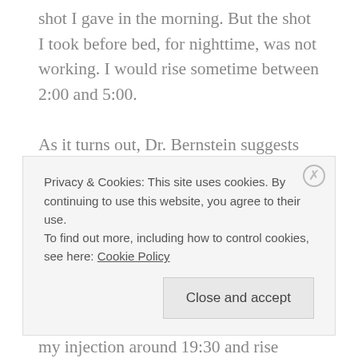shot I gave in the morning. But the shot I took before bed, for nighttime, was not working. I would rise sometime between 2:00 and 5:00.

As it turns out, Dr. Bernstein suggests splitting Levemir basal insulin three times in this YouTube video on his channel, Diabetes University. He also suggests that Levemir will not be effective longer than 8.5 hours during the night (minute 7:45 of video). This is exactly what I experienced. I would give my injection around 19:30 and rise anywhere from 2:00-5:00. I knew it wasn't Dawn Phenomenon.
Privacy & Cookies: This site uses cookies. By continuing to use this website, you agree to their use.
To find out more, including how to control cookies, see here: Cookie Policy